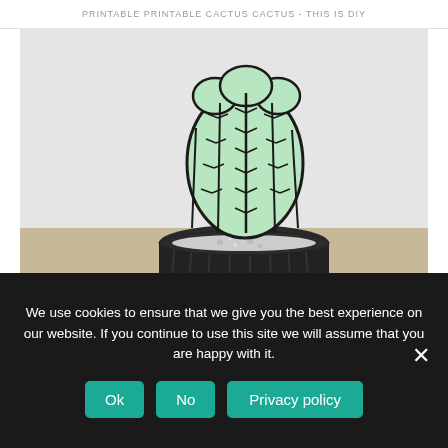PRINTABLE PRINTABLE CACTUS CACTUS - THIS IS DIY
[Figure (photo): Photo of a stained glass style cactus decoration in a dark pot with white gravel, on a light gray background]
gadget
Stained Glass Cactus Plant
We use cookies to ensure that we give you the best experience on our website. If you continue to use this site we will assume that you are happy with it.